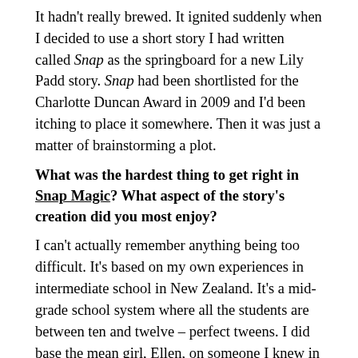It hadn't really brewed. It ignited suddenly when I decided to use a short story I had written called Snap as the springboard for a new Lily Padd story. Snap had been shortlisted for the Charlotte Duncan Award in 2009 and I'd been itching to place it somewhere. Then it was just a matter of brainstorming a plot.
What was the hardest thing to get right in Snap Magic? What aspect of the story's creation did you most enjoy?
I can't actually remember anything being too difficult. It's based on my own experiences in intermediate school in New Zealand. It's a mid-grade school system where all the students are between ten and twelve – perfect tweens. I did base the mean girl, Ellen, on someone I knew in high school, so I most enjoyed making life difficult for that character.